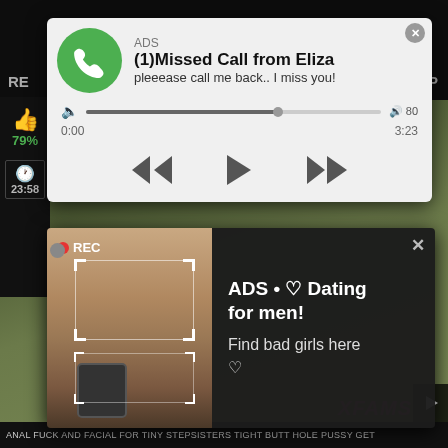[Figure (screenshot): Dark background with greenish blurred content, representing an adult video website background]
[Figure (screenshot): Popup ad: missed call notification styled as WhatsApp or phone call from 'Eliza'. Shows green phone icon, ADS label, title '(1)Missed Call from Eliza', subtitle 'pleeease call me back.. I miss you!', audio progress bar showing 0:00 to 3:23, with playback controls (rewind, play, fast-forward).]
[Figure (screenshot): Popup ad: Dating ad with dark background. Left side shows a person taking a selfie with REC indicator and camera focus overlay. Right side shows text: ADS • [heart] Dating for men! Find bad girls here [heart emoji]]
ANAL FUCK AND FACIAL FOR TINY STEPSISTERS TIGHT BUTT HOLE PUSSY GET